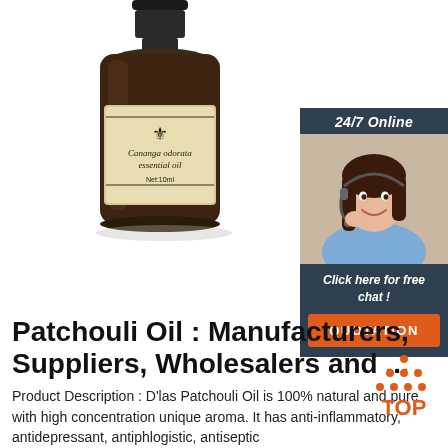[Figure (photo): Dark amber glass essential oil bottle labeled 'Cananga odorata essential oil, Net:10ml' with a fleur-de-lis logo on the label]
[Figure (photo): Customer service widget showing '24/7 Online' header, a smiling woman with headset, 'Click here for free chat!' text, and an orange QUOTATION button]
Patchouli Oil : Manufacturers, Suppliers, Wholesalers and ...
Product Description : D'las Patchouli Oil is 100% natural and pure with high concentration unique aroma. It has anti-inflammatory, antidepressant, antiphlogistic, antiseptic
[Figure (logo): TOP badge with orange text 'TOP' and orange dots arranged in triangle above]